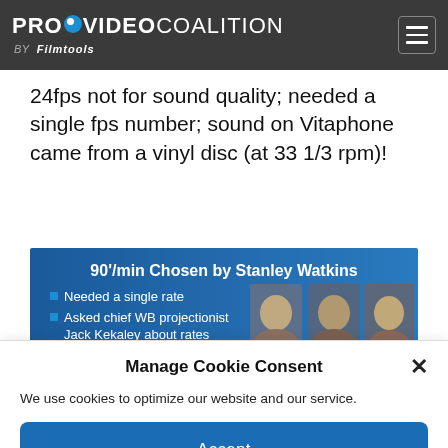PROVIDEO COALITION BY Filmtools
24fps not for sound quality; needed a single fps number; sound on Vitaphone came from a vinyl disc (at 33 1/3 rpm)!
[Figure (screenshot): Slide showing '90'/min Chosen by Stanley Watkins' with bullet points: Needed a single rate, Asked chief WB projectionist Jack Kekaley about rates, Sam Warner & Vitaphone. Three black and white portrait photos on the right side.]
Manage Cookie Consent
We use cookies to optimize our website and our service.
Accept